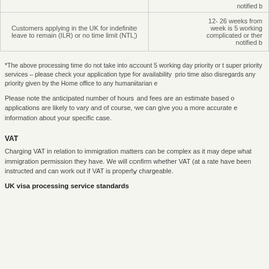|  |  |
| --- | --- |
| notified b... |  |
| Customers applying in the UK for indefinite leave to remain (ILR) or no time limit (NTL) | 12- 26 weeks from week is 5 working complicated or ther notified b... |
*The above processing time do not take into account 5 working day priority or the super priority services – please check your application type for availability  prior time also disregards any priority given by the Home office to any humanitarian e
Please note the anticipated number of hours and fees are an estimate based o applications are likely to vary and of course, we can give you a more accurate e information about your specific case.
VAT
Charging VAT in relation to immigration matters can be complex as it may depe what immigration permission they have. We will confirm whether VAT (at a rate have been instructed and can work out if VAT is properly chargeable.
UK visa processing service standards